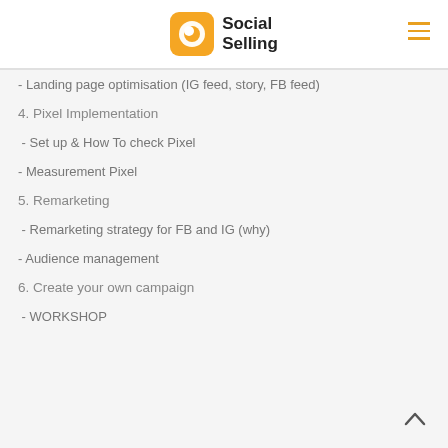Social Selling
- Landing page optimisation (IG feed, story, FB feed)
4. Pixel Implementation
- Set up & How To check Pixel
- Measurement Pixel
5. Remarketing
- Remarketing strategy for FB and IG (why)
- Audience management
6. Create your own campaign
- WORKSHOP